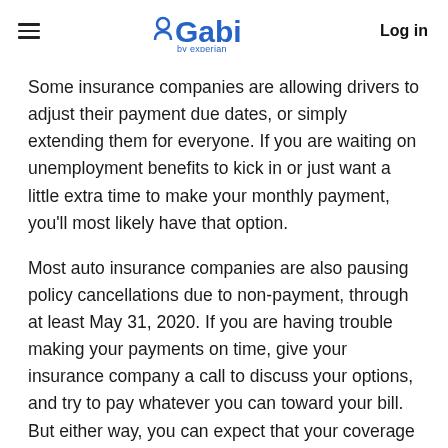Gabi by Experian — Log in
Some insurance companies are allowing drivers to adjust their payment due dates, or simply extending them for everyone. If you are waiting on unemployment benefits to kick in or just want a little extra time to make your monthly payment, you'll most likely have that option.
Most auto insurance companies are also pausing policy cancellations due to non-payment, through at least May 31, 2020. If you are having trouble making your payments on time, give your insurance company a call to discuss your options, and try to pay whatever you can toward your bill. But either way, you can expect that your coverage will not be canceled, at least through the end of